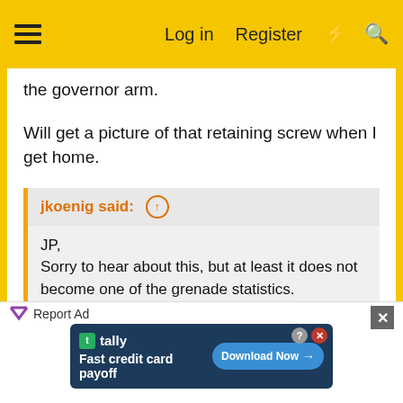Log in   Register
the governor arm.
Will get a picture of that retaining screw when I get home.
jkoenig said:
JP,
Sorry to hear about this, but at least it does not become one of the grenade statistics.

A trip to the Cub Cadet Parts Lookup shows that a K161 and a 127-era K301 use the same part number governor gear. If you don't want to believe my markings, check out the muffler differences.
Click to expand...
[Figure (screenshot): Advertisement banner: Tally app - Fast credit card payoff with Download Now button]